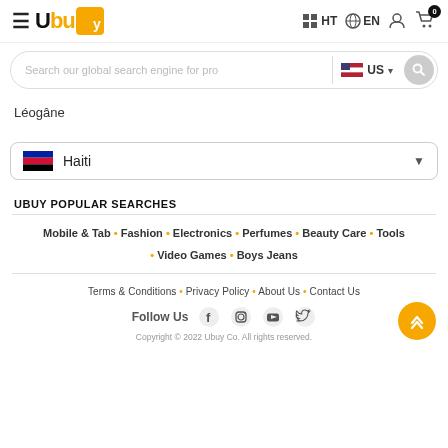Ubuy HT EN 0
Search our global search engine for pro US
Léogâne
Haiti
UBUY POPULAR SEARCHES
Mobile & Tab • Fashion • Electronics • Perfumes • Beauty Care • Tools • Video Games • Boys Jeans
Terms & Conditions • Privacy Policy • About Us • Contact Us
Follow Us
Copyright © 2022 Ubuy Co. All rights reserved.